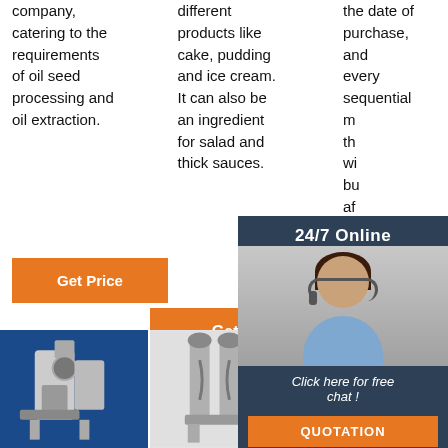company, catering to the requirements of oil seed processing and oil extraction.
[Figure (other): Orange 'Get Price' button in column 1]
different products like cake, pudding and ice cream. It can also be an ingredient for salad and thick sauces.
[Figure (other): Orange 'Get Price' button in column 2]
the date of purchase, and every sequential m... th... wi... bu... af... ge...
[Figure (other): Orange 'Get Price' button in column 3 (partially hidden by chat widget)]
[Figure (other): 24/7 Online chat widget overlay with agent photo, 'Click here for free chat!' text, and QUOTATION button]
[Figure (other): TOP badge with orange dots above orange TOP text]
[Figure (photo): Industrial oil press machine on blue background]
[Figure (photo): Industrial grain/flour processing machine on light background]
[Figure (photo): Industrial processing plant exterior]